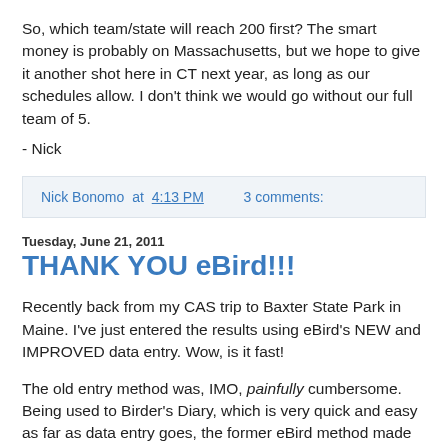So, which team/state will reach 200 first? The smart money is probably on Massachusetts, but we hope to give it another shot here in CT next year, as long as our schedules allow. I don't think we would go without our full team of 5.
- Nick
Nick Bonomo at 4:13 PM   3 comments:
Tuesday, June 21, 2011
THANK YOU eBird!!!
Recently back from my CAS trip to Baxter State Park in Maine. I've just entered the results using eBird's NEW and IMPROVED data entry. Wow, is it fast!
The old entry method was, IMO, painfully cumbersome. Being used to Birder's Diary, which is very quick and easy as far as data entry goes, the former eBird method made me